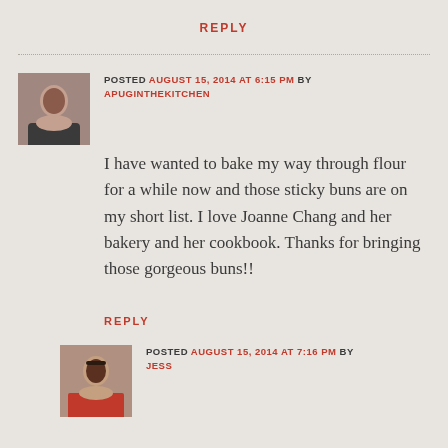REPLY
POSTED AUGUST 15, 2014 AT 6:15 PM BY APUGINTHEKITCHEN
[Figure (photo): Avatar photo of a woman]
I have wanted to bake my way through flour for a while now and those sticky buns are on my short list. I love Joanne Chang and her bakery and her cookbook. Thanks for bringing those gorgeous buns!!
REPLY
POSTED AUGUST 15, 2014 AT 7:16 PM BY JESS
[Figure (photo): Avatar photo of a woman with red top]